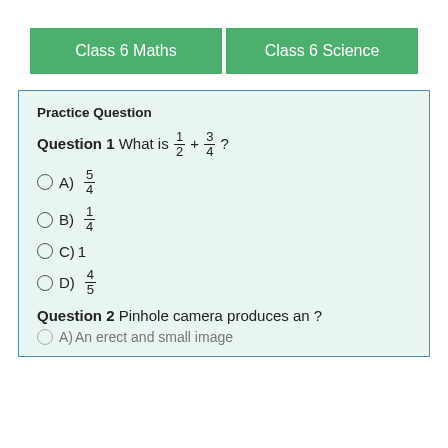Class 6 Maths | Class 6 Science
Practice Question
Question 1 What is 1/2 + 3/4 ?
A) 5/4
B) 1/4
C) 1
D) 4/5
Question 2 Pinhole camera produces an ?
A) An erect and small image